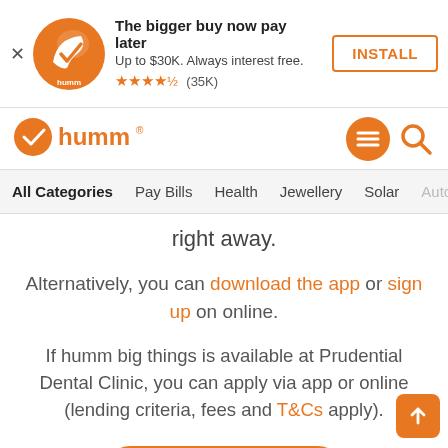[Figure (screenshot): Humm app install banner with orange bird logo, 'The bigger buy now pay later', 'Up to $30K. Always interest free.', 4.5 star rating (35K), and INSTALL button]
[Figure (logo): Humm logo with orange checkmark-bird icon and humm wordmark in orange]
[Figure (infographic): Navigation icons: hamburger menu in orange circle and search magnifier in orange]
All Categories  Pay Bills  Health  Jewellery  Solar  Auto
right away.
Alternatively, you can download the app or sign up on online.
If humm big things is available at Prudential Dental Clinic, you can apply via app or online (lending criteria, fees and T&Cs apply).
[Figure (other): Orange rounded rectangle VISIT WEBSITE button]
[Figure (other): Orange square scroll-to-top button with upward arrow]